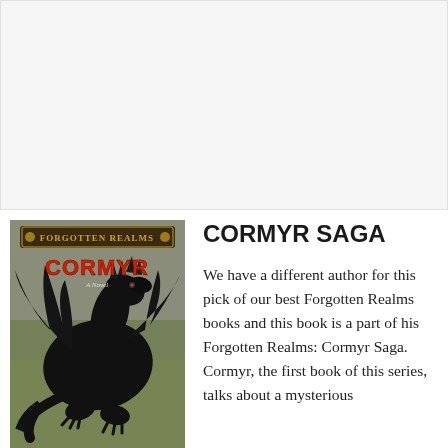[Figure (other): Gray advertisement banner placeholder at top of page]
[Figure (illustration): Book cover of Forgotten Realms: Cormyr — A Novel, featuring a large black dragon on a gray-green background with the Forgotten Realms logo at top and CORMYR in red text]
CORMYR SAGA
We have a different author for this pick of our best Forgotten Realms books and this book is a part of his Forgotten Realms: Cormyr Saga. Cormyr, the first book of this series, talks about a mysterious